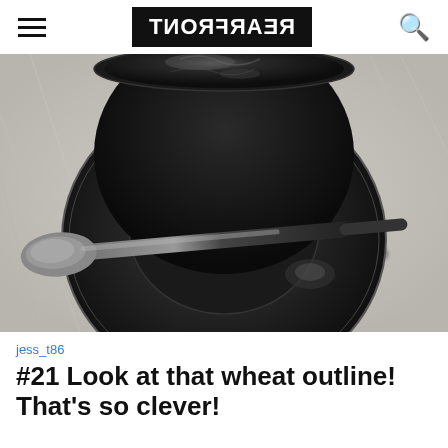REARFRONT (mirrored logo)
[Figure (photo): Black and white overhead photo of a dark coffee cup on a saucer with a spoon resting across it on a wooden table]
jess_t86
#21 Look at that wheat outline! That's so clever!